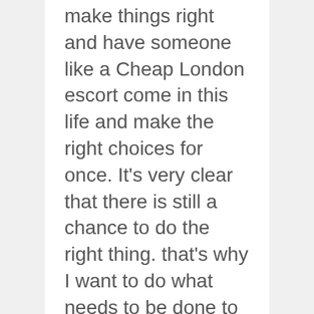make things right and have someone like a Cheap London escort come in this life and make the right choices for once. It's very clear that there is still a chance to do the right thing. that's why I want to do what needs to be done to keep a Cheap London escort around cause she always know how to help people in her life and it's her time now to enjoy her life.